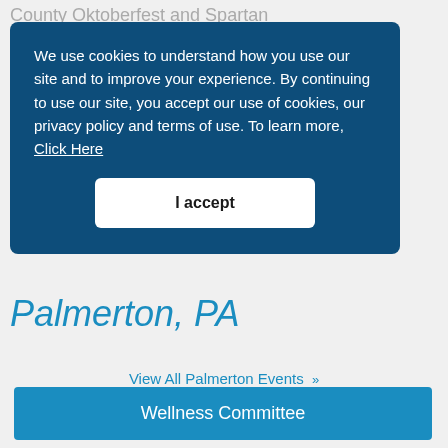County Oktoberfest and Spartan
We use cookies to understand how you use our site and to improve your experience. By continuing to use our site, you accept our use of cookies, our privacy policy and terms of use. To learn more, Click Here
I accept
Palmerton, PA
View All Palmerton Events >>
Wellness Committee